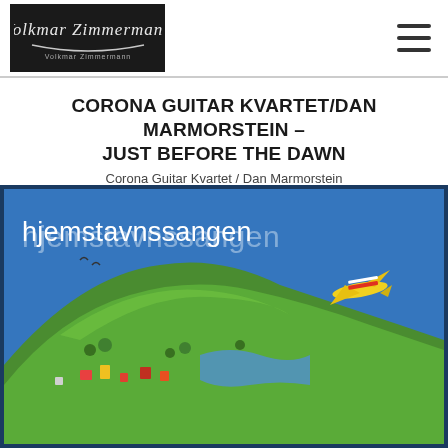[Figure (logo): Volkmar Zimmermann signature logo on black background]
CORONA GUITAR KVARTET/DAN MARMORSTEIN – JUST BEFORE THE DAWN
Corona Guitar Kvartet / Dan Marmorstein
[Figure (illustration): Album cover art for 'hjemstavnssangen' showing a colorful illustrated island/landscape with the text 'hjemstavnssangen' at the top, a small airplane flying on the right side, and vibrant green, yellow, and blue illustrated scenery below, set against a blue sky background.]